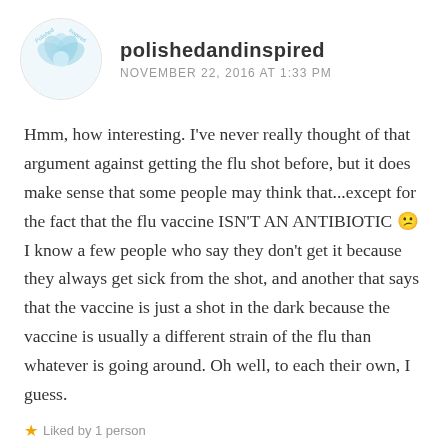polishedandinspired
NOVEMBER 22, 2016 AT 1:33 PM
Hmm, how interesting. I've never really thought of that argument against getting the flu shot before, but it does make sense that some people may think that...except for the fact that the flu vaccine ISN'T AN ANTIBIOTIC 😕 I know a few people who say they don't get it because they always get sick from the shot, and another that says that the vaccine is just a shot in the dark because the vaccine is usually a different strain of the flu than whatever is going around. Oh well, to each their own, I guess.
Liked by 1 person